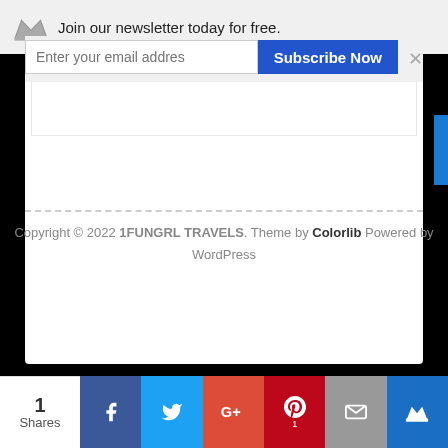[Figure (screenshot): Newsletter subscription banner with crown icon, email input field, Subscribe Now button, and close button]
[Figure (screenshot): White content card with inner white box and blue side button]
Copyright © 2022 1FUNGRL TRAVELS. Theme by Colorlib Powered by WordPress
[Figure (infographic): Social share bar with count: 1 Shares, Facebook, Twitter, Google+, Pinterest (1), Email, Crown buttons]